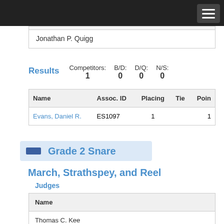Jonathan P. Quigg
Results  Competitors: 1  B/D: 0  D/Q: 0  N/S: 0
| Name | Assoc. ID | Placing | Tie | Points |
| --- | --- | --- | --- | --- |
| Evans, Daniel R. | ES1097 | 1 |  | 1 |
Grade 2 Snare
March, Strathspey, and Reel
Judges
| Name |
| --- |
| Thomas C. Kee |